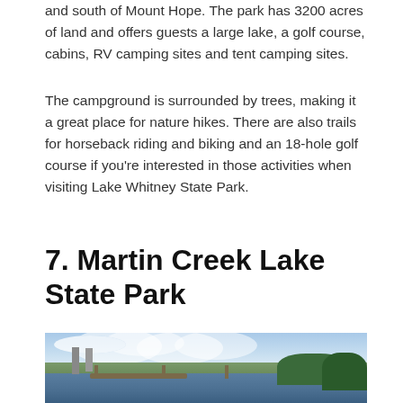and south of Mount Hope. The park has 3200 acres of land and offers guests a large lake, a golf course, cabins, RV camping sites and tent camping sites.
The campground is surrounded by trees, making it a great place for nature hikes. There are also trails for horseback riding and biking and an 18-hole golf course if you're interested in those activities when visiting Lake Whitney State Park.
7. Martin Creek Lake State Park
[Figure (photo): Outdoor photograph of Martin Creek Lake State Park showing a wooden pier/dock extending over calm water, with industrial smokestacks on the left, green trees on the right, and a partly cloudy blue sky.]